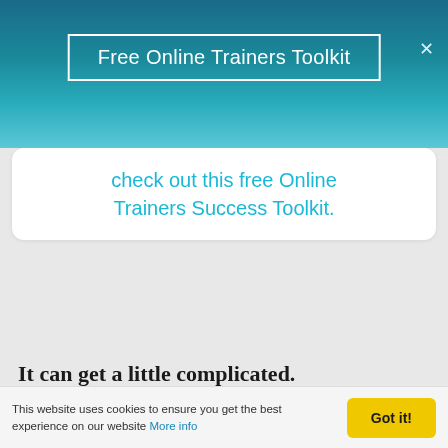Free Online Trainers Toolkit
check out this free Online Trainers Success Toolkit.
It can get a little complicated.
So, in this week's FitPro Masterclass podcast for online personal trainers, I share my five biggest tips that you should know before you publish your first
This website uses cookies to ensure you get the best experience on our website More info   Got it!